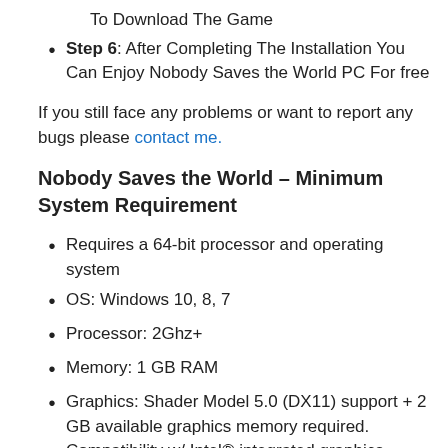To Download The Game
Step 6: After Completing The Installation You Can Enjoy Nobody Saves the World PC For free
If you still face any problems or want to report any bugs please contact me.
Nobody Saves the World – Minimum System Requirement
Requires a 64-bit processor and operating system
OS: Windows 10, 8, 7
Processor: 2Ghz+
Memory: 1 GB RAM
Graphics: Shader Model 5.0 (DX11) support + 2 GB available graphics memory required. Compatibility w/ Intel® integrated graphics cards not guaranteed.